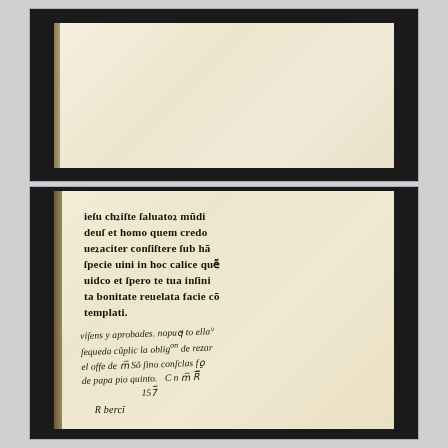[Figure (photo): Photograph of an open manuscript book showing a blank yellowed/cream page, with dark binding visible on the left. The pages appear aged and slightly warped.]
[Figure (photo): Photograph of a manuscript page showing Gothic blackletter printed text reading 'iesu christe saluator mundi deus et homo quem credo ueraciter consistere sub hac specie uini in hoc calice quem uidco et spero te tua infinita bonitate reuelata facie contemplari.' followed by handwritten cursive notes in Spanish/Latin including 'visens y aprobades. nopuq to ellos sequeda cumplic la oblig de rezar el offie de M So sino con sclas fos de papa pio quinto. C n mi R... 157...' and a signature.]